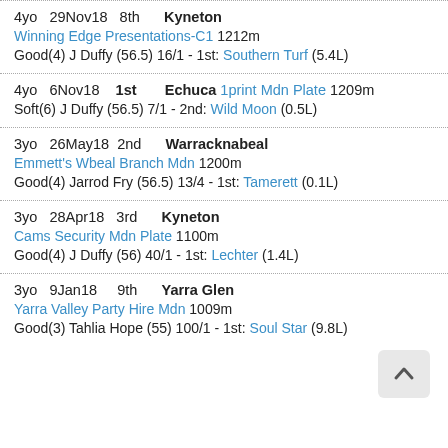4yo 29Nov18 8th Kyneton | Winning Edge Presentations-C1 1212m | Good(4) J Duffy (56.5) 16/1 - 1st: Southern Turf (5.4L)
4yo 6Nov18 1st Echuca 1print Mdn Plate 1209m | Soft(6) J Duffy (56.5) 7/1 - 2nd: Wild Moon (0.5L)
3yo 26May18 2nd Warracknabeal | Emmett's Wbeal Branch Mdn 1200m | Good(4) Jarrod Fry (56.5) 13/4 - 1st: Tamerett (0.1L)
3yo 28Apr18 3rd Kyneton | Cams Security Mdn Plate 1100m | Good(4) J Duffy (56) 40/1 - 1st: Lechter (1.4L)
3yo 9Jan18 9th Yarra Glen | Yarra Valley Party Hire Mdn 1009m | Good(3) Tahlia Hope (55) 100/1 - 1st: Soul Star (9.8L)